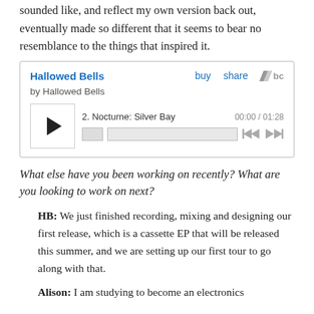sounded like, and reflect my own version back out, eventually made so different that it seems to bear no resemblance to the things that inspired it.
[Figure (other): Bandcamp embedded music player for 'Hallowed Bells' by Hallowed Bells, showing track 2: Nocturne: Silver Bay, 00:00 / 01:28, with play button, progress bar, and navigation controls.]
What else have you been working on recently? What are you looking to work on next?
HB: We just finished recording, mixing and designing our first release, which is a cassette EP that will be released this summer, and we are setting up our first tour to go along with that.
Alison: I am studying to become an electronics